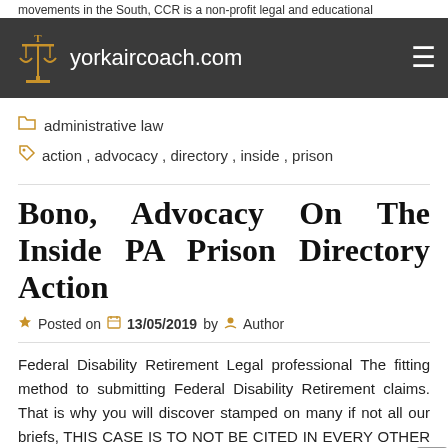movements in the South, CCR is a non-profit legal and educational
yorkaircoach.com
administrative law
action, advocacy, directory, inside, prison
Bono, Advocacy On The Inside PA Prison Directory Action
Posted on 13/05/2019 by Author
Federal Disability Retirement Legal professional The fitting method to submitting Federal Disability Retirement claims. That is why you will discover stamped on many if not all our briefs, THIS CASE IS TO NOT BE CITED IN EVERY OTHER CASE AND IS